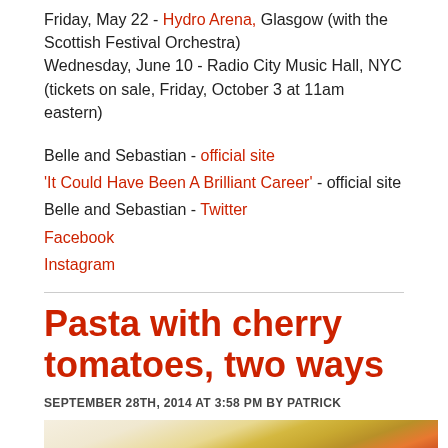Friday, May 22 - Hydro Arena, Glasgow (with the Scottish Festival Orchestra)
Wednesday, June 10 - Radio City Music Hall, NYC (tickets on sale, Friday, October 3 at 11am eastern)
Belle and Sebastian - official site
'It Could Have Been A Brilliant Career' - official site
Belle and Sebastian - Twitter
Facebook
Instagram
Pasta with cherry tomatoes, two ways
SEPTEMBER 28TH, 2014 AT 3:58 PM BY PATRICK
[Figure (photo): A white bowl of spaghetti pasta with cherry tomatoes and sage leaves on top, close-up food photography]